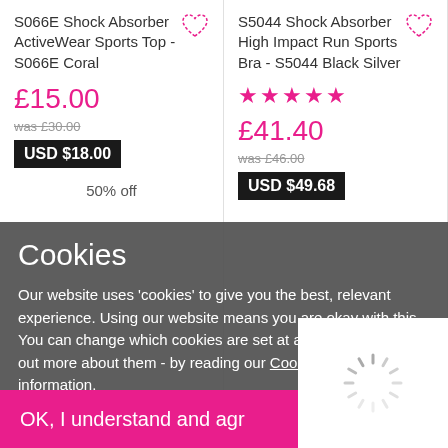S066E Shock Absorber ActiveWear Sports Top - S066E Coral
£15.00
was £30.00
USD $18.00
50% off
S5044 Shock Absorber High Impact Run Sports Bra - S5044 Black Silver
★★★★★
£41.40
was £46.00
USD $49.68
10% off
Cookies
Our website uses 'cookies' to give you the best, relevant experience. Using our website means you are okay with this. You can change which cookies are set at any time - and find out more about them - by reading our Cookie Policy information.
OK, I understand and agr...
[Figure (other): Loading spinner icon (circular dashed loader)]